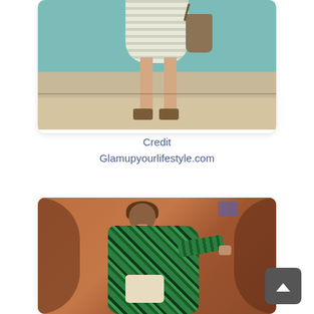[Figure (photo): Photo of lower body of a woman wearing a striped skirt and sandals, carrying a brown bag, standing on a wooden floor against a teal/turquoise wall background]
Credit
Glamupyourlifestyle.com
[Figure (photo): Photo of a woman wearing a green tropical-print dress/kaftan with arms extended, viewed from the side, standing in a Moroccan-style arched doorway with terracotta/pink walls]